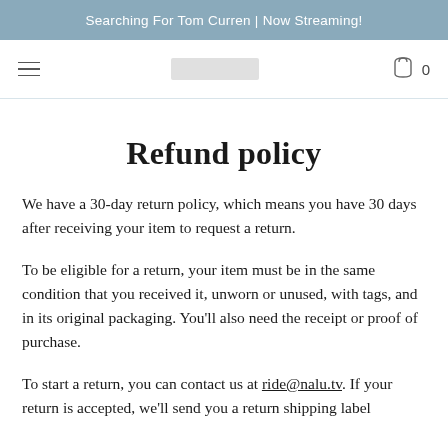Searching For Tom Curren | Now Streaming!
Refund policy
We have a 30-day return policy, which means you have 30 days after receiving your item to request a return.
To be eligible for a return, your item must be in the same condition that you received it, unworn or unused, with tags, and in its original packaging. You'll also need the receipt or proof of purchase.
To start a return, you can contact us at ride@nalu.tv. If your return is accepted, we'll send you a return shipping label